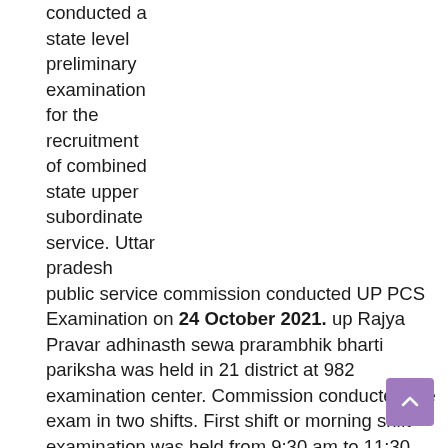conducted a state level preliminary examination for the recruitment of combined state upper subordinate service. Uttar pradesh public service commission conducted UP PCS Examination on 24 October 2021. up Rajya Pravar adhinasth sewa prarambhik bharti pariksha was held in 21 district at 982 examination center. Commission conducted pre exam in two shifts. First shift or morning shift examination was held from 9:30 am to 11:30 am and evening shift examination was held from 2:30 pm to 4:30 Pm. UPPSC issued admit card / call letter for total 455297 registered candidates of UP PCS examination. All candidates who want answer key of Question paper 1 of general study all set and question paper 2 of CSAT, they are